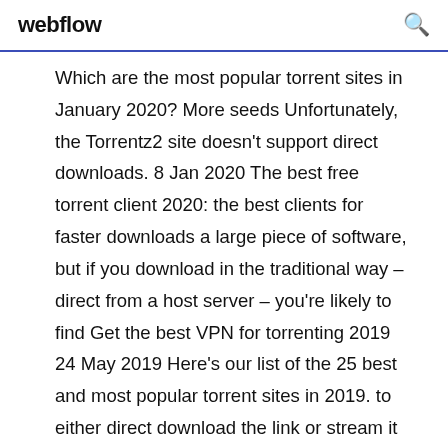webflow
Which are the most popular torrent sites in January 2020? More seeds Unfortunately, the Torrentz2 site doesn't support direct downloads. 8 Jan 2020 The best free torrent client 2020: the best clients for faster downloads a large piece of software, but if you download in the traditional way – direct from a host server – you're likely to find Get the best VPN for torrenting 2019 24 May 2019 Here's our list of the 25 best and most popular torrent sites in 2019. to either direct download the link or stream it online if it's video content. This tutorial will explain how to download torrents with idm?, Top 10 ways to download torrents with IDM 2014. Kickass Proxy{100%}| Kickass